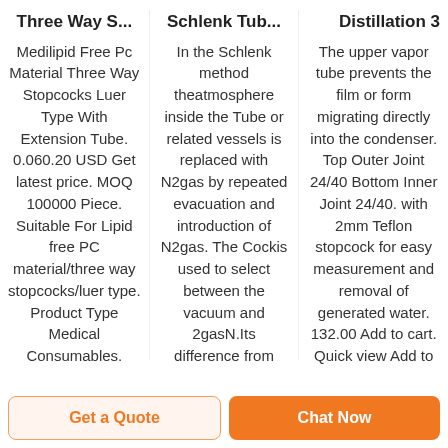Three Way S...
Medilipid Free Pc Material Three Way Stopcocks Luer Type With Extension Tube. 0.060.20 USD Get latest price. MOQ 100000 Piece. Suitable For Lipid free PC material/three way stopcocks/luer type. Product Type Medical Consumables. Material PC ABS
Schlenk Tub...
In the Schlenk method theatmosphere inside the Tube or related vessels is replaced with N2gas by repeated evacuation and introduction of N2gas. The Cockis used to select between the vacuum and 2gasN.Its difference from
Distillation 3
The upper vapor tube prevents the film or form migrating directly into the condenser. Top Outer Joint 24/40 Bottom Inner Joint 24/40. with 2mm Teflon stopcock for easy measurement and removal of generated water. 132.00 Add to cart. Quick view Add to Wishlist In
Get a Quote
Chat Now